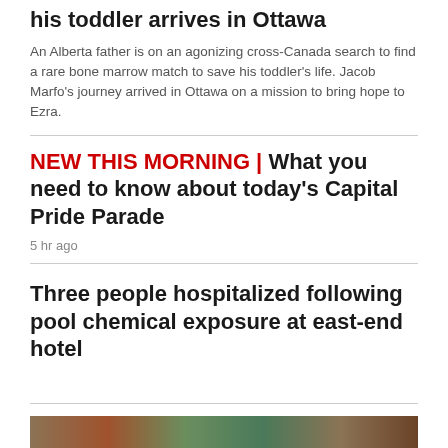his toddler arrives in Ottawa
An Alberta father is on an agonizing cross-Canada search to find a rare bone marrow match to save his toddler's life. Jacob Marfo's journey arrived in Ottawa on a mission to bring hope to Ezra.
NEW THIS MORNING | What you need to know about today's Capital Pride Parade
5 hr ago
Three people hospitalized following pool chemical exposure at east-end hotel
VANCOUVER
[Figure (photo): Partial photo strip visible at bottom of page]